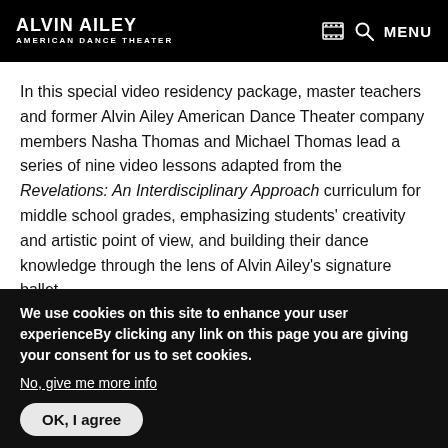ALVIN AILEY AMERICAN DANCE THEATER | MENU
In this special video residency package, master teachers and former Alvin Ailey American Dance Theater company members Nasha Thomas and Michael Thomas lead a series of nine video lessons adapted from the Revelations: An Interdisciplinary Approach curriculum for middle school grades, emphasizing students' creativity and artistic point of view, and building their dance knowledge through the lens of Alvin Ailey's signature ballet.
In each lesson, Nasha and Michael lead a warm-up, teach
We use cookies on this site to enhance your user experienceBy clicking any link on this page you are giving your consent for us to set cookies.
No, give me more info
OK, I agree